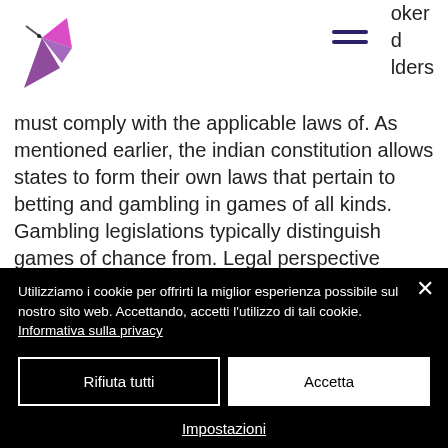[Figure (logo): Colorful hummingbird logo with purple and pink/magenta colors on top of a stylized purple bird body, representing a website brand]
joker
d
lders
must comply with the applicable laws of. As mentioned earlier, the indian constitution allows states to form their own laws that pertain to betting and gambling in games of all kinds. Gambling legislations typically distinguish games of chance from. Legal perspective gambling, being a state subject, is heavily restricted in india, majorly through the public gambling act, 1867, barring a few state. All forms of real money gaming,
Utilizziamo i cookie per offrirti la miglior esperienza possibile sul nostro sito web. Accettando, accetti l'utilizzo di tali cookie. Informativa sulla privacy
Rifiuta tutti
Accetta
Impostazioni